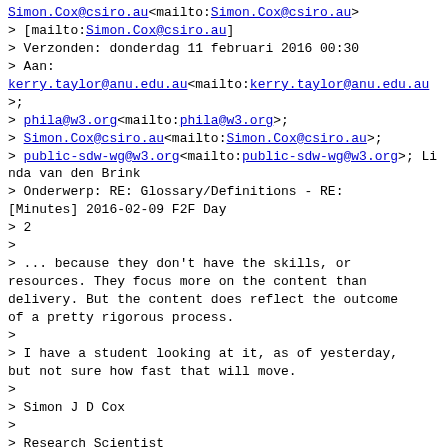Simon.Cox@csiro.au<mailto:Simon.Cox@csiro.au>
> [mailto:Simon.Cox@csiro.au]
> Verzonden: donderdag 11 februari 2016 00:30
> Aan:
kerry.taylor@anu.edu.au<mailto:kerry.taylor@anu.edu.au>;
> phila@w3.org<mailto:phila@w3.org>;
> Simon.Cox@csiro.au<mailto:Simon.Cox@csiro.au>;
> public-sdw-wg@w3.org<mailto:public-sdw-wg@w3.org>; Linda van den Brink
> Onderwerp: RE: Glossary/Definitions - RE: [Minutes] 2016-02-09 F2F Day
> 2
>
> ... because they don't have the skills, or resources. They focus more on the content than delivery. But the content does reflect the outcome of a pretty rigorous process.
>
> I have a student looking at it, as of yesterday, but not sure how fast that will move.
>
> Simon J D Cox
>
> Research Scientist
>
> Environmental Information Infrastructures
>
> Land and Water